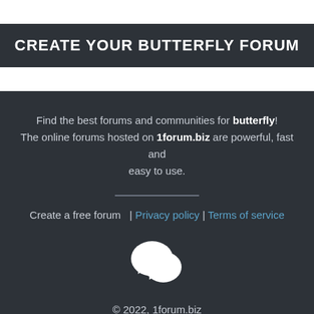CREATE YOUR BUTTERFLY FORUM
Find the best forums and communities for butterfly! The online forums hosted on 1forum.biz are powerful, fast and easy to use.
Create a free forum  | Privacy policy | Terms of service
[Figure (illustration): Two overlapping white speech bubble / chat icons forming a forum logo]
© 2022, 1forum.biz